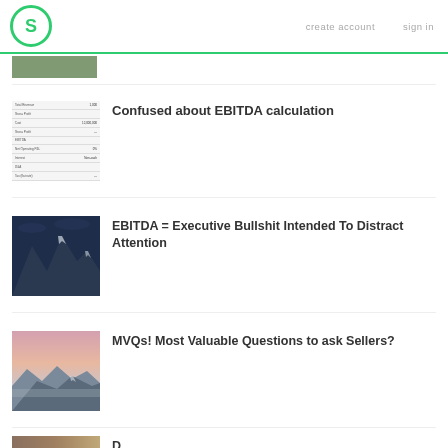S  create account  sign in
[Figure (table-as-image): Thumbnail image of a financial table/spreadsheet]
Confused about EBITDA calculation
[Figure (photo): Snow-capped mountain peaks against a dark sky]
EBITDA = Executive Bullshit Intended To Distract Attention
[Figure (photo): Mountain landscape at dusk with pink sky]
MVQs! Most Valuable Questions to ask Sellers?
[Figure (photo): Partial thumbnail of another mountain or outdoor image at the bottom]